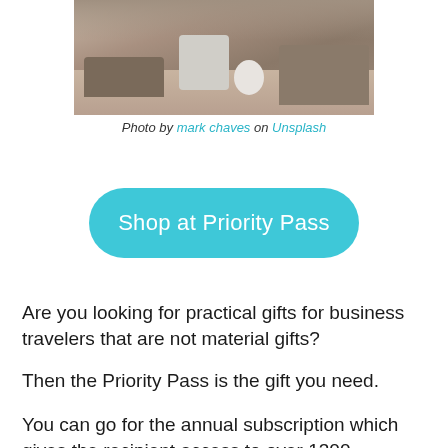[Figure (photo): Interior photo of a modern airport lounge with grey sofa, white chair, and table]
Photo by mark chaves on Unsplash
[Figure (other): Teal rounded button labeled 'Shop at Priority Pass']
Are you looking for practical gifts for business travelers that are not material gifts?
Then the Priority Pass is the gift you need.
You can go for the annual subscription which gives the recipient access to over 1300